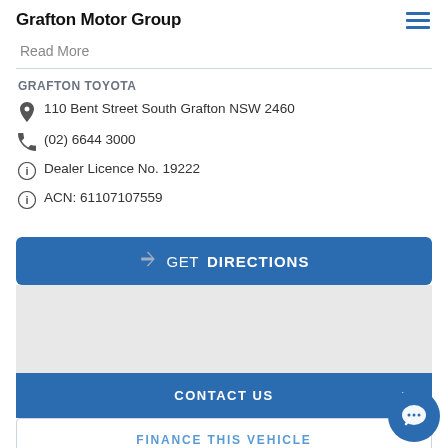Grafton Motor Group
Read More
GRAFTON TOYOTA
110 Bent Street South Grafton NSW 2460
(02) 6644 3000
Dealer Licence No. 19222
ACN: 61107107559
GET DIRECTIONS
[Figure (map): Grey map placeholder area]
CONTACT US
FINANCE THIS VEHICLE